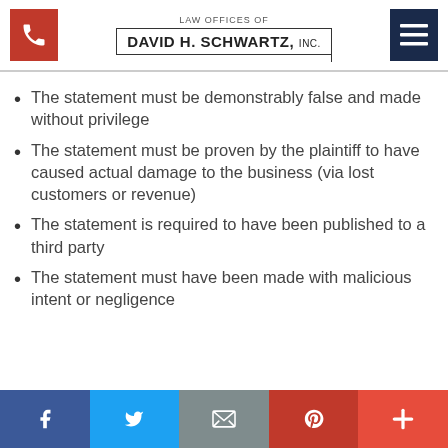LAW OFFICES OF DAVID H. SCHWARTZ, INC.
The statement must be demonstrably false and made without privilege
The statement must be proven by the plaintiff to have caused actual damage to the business (via lost customers or revenue)
The statement is required to have been published to a third party
The statement must have been made with malicious intent or negligence
Social share bar: Facebook, Twitter, Email, Pinterest, Plus